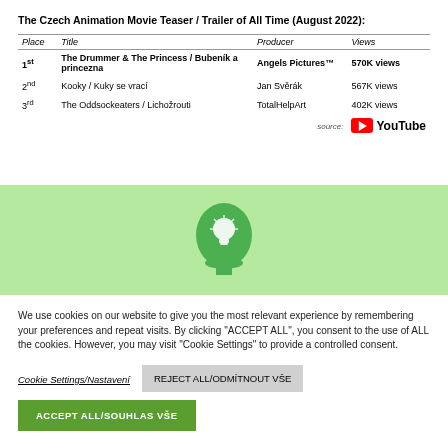The Czech Animation Movie Teaser / Trailer of All Time (August 2022):
| Place | Title | Producer | Views |
| --- | --- | --- | --- |
| 1st | The Drummer & The Princess / Bubeník a princezna | Angels Pictures™ | 570K views |
| 2nd | Kooky / Kuky se vrací | Jan Svěrák | 567K views |
| 3rd | The Oddsockeaters / Lichožrouti | TotalHelpArt | 402K views |
[Figure (logo): YouTube logo with red play button icon and YouTube wordmark]
[Figure (illustration): Green human head silhouette with light bulb icon on light green background banner]
[Figure (illustration): Blue rounded square button with white upward arrow icon]
We use cookies on our website to give you the most relevant experience by remembering your preferences and repeat visits. By clicking "ACCEPT ALL", you consent to the use of ALL the cookies. However, you may visit "Cookie Settings" to provide a controlled consent.
Cookie Settings/Nastavení
REJECT ALL/ODMÍTNOUT VŠE
ACCEPT ALL/SOUHLAS VŠE